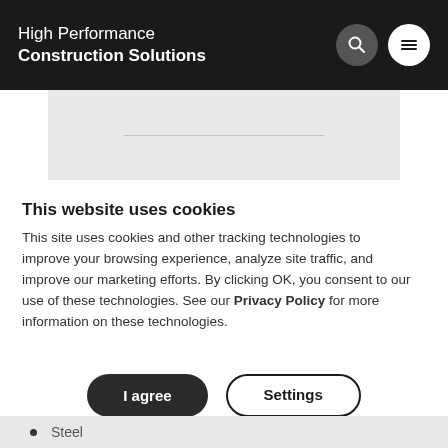High Performance Construction Solutions
[Figure (other): Gray banner area with a thin horizontal line in the center]
This website uses cookies
This site uses cookies and other tracking technologies to improve your browsing experience, analyze site traffic, and improve our marketing efforts. By clicking OK, you consent to our use of these technologies. See our Privacy Policy for more information on these technologies.
Steel